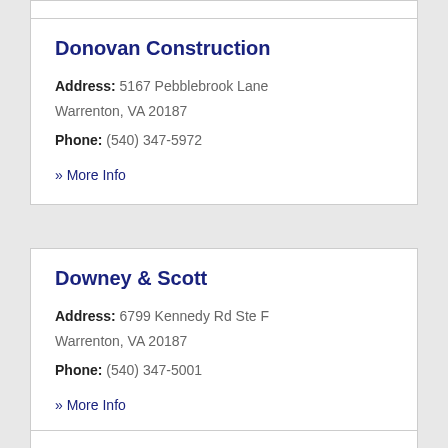Donovan Construction
Address: 5167 Pebblebrook Lane Warrenton, VA 20187
Phone: (540) 347-5972
» More Info
Downey & Scott
Address: 6799 Kennedy Rd Ste F Warrenton, VA 20187
Phone: (540) 347-5001
» More Info